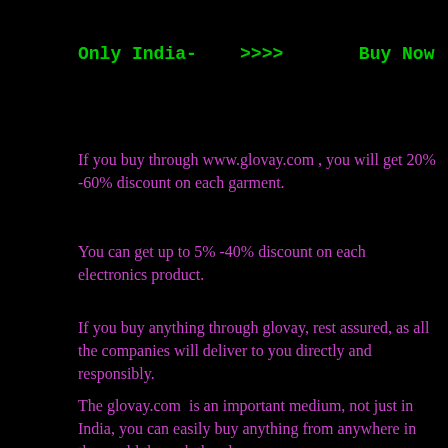Only India-    >>>>       Buy Now
If you buy through www.glovay.com , you will get 20% -60% discount on each garment.
You can get up to 5% -40% discount on each electronics product.
If you buy anything through glovay, rest assured, as all the companies will deliver to you directly and responsibly.
The glovay.com  is an important medium, not just in India, you can easily buy anything from anywhere in the world through the glovay .
You can come to the glovay.com and search for the things you need. Welcome to the glovay for that.